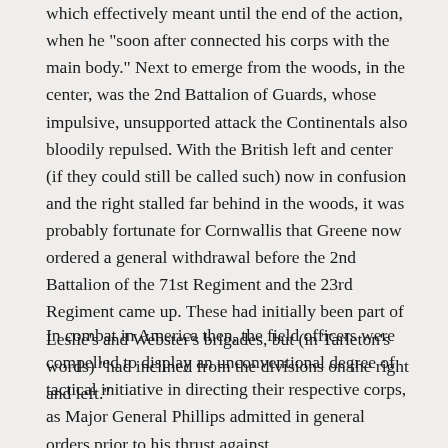progress of his right troops upon his right, which effectively meant until the end of the action, when he "soon after connected his corps with the main body." Next to emerge from the woods, in the center, was the 2nd Battalion of Guards, whose impulsive, unsupported attack the Continentals also bloodily repulsed. With the British left and center (if they could still be called such) now in confusion and the right stalled far behind in the woods, it was probably fortunate for Cornwallis that Greene now ordered a general withdrawal before the 2nd Battalion of the 71st Regiment and the 23rd Regiment came up. These had initially been part of Leslie's and Webster's brigades, but (in Tarleton's words) "had inclined from the divisions on the right and left."
In combat in America then, the field officers were compelled to display an unconventional degree of tactical initiative in directing their respective corps, as Major General Phillips admitted in general orders prior to his thrust against